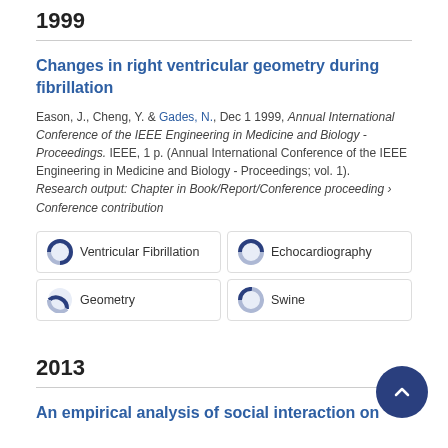1999
Changes in right ventricular geometry during fibrillation
Eason, J., Cheng, Y. & Gades, N., Dec 1 1999, Annual International Conference of the IEEE Engineering in Medicine and Biology - Proceedings. IEEE, 1 p. (Annual International Conference of the IEEE Engineering in Medicine and Biology - Proceedings; vol. 1).
Research output: Chapter in Book/Report/Conference proceeding › Conference contribution
Ventricular Fibrillation
Echocardiography
Geometry
Swine
2013
An empirical analysis of social interaction on technology-assisted social systems